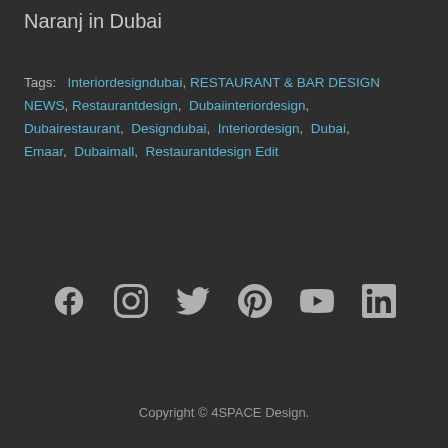Naranj in Dubai
Tags:  Interiordesigndubai,  RESTAURANT & BAR DESIGN NEWS,  Restaurantdesign,  Dubaiinteriordesign,  Dubairestaurant,  Designdubai,  Interiordesign,  Dubai,  Emaar,  Dubaimall,  Restaurantdesign Edit
[Figure (infographic): Social media icons row: Facebook, Instagram, Twitter, Pinterest, YouTube, LinkedIn]
Copyright © 4SPACE Design.